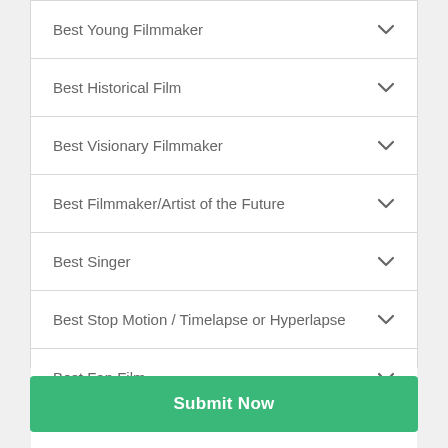Best Young Filmmaker
Best Historical Film
Best Visionary Filmmaker
Best Filmmaker/Artist of the Future
Best Singer
Best Stop Motion / Timelapse or Hyperlapse
Best Fan Film
Submit Now